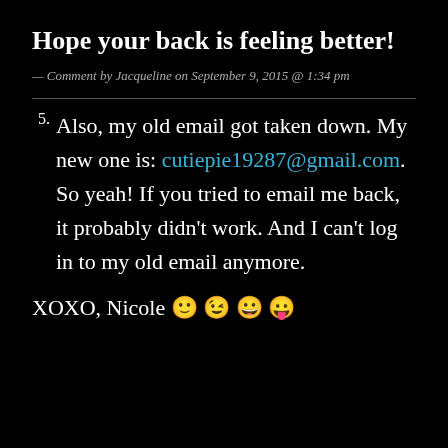Hope your back is feeling better!
— Comment by Jacqueline on September 9, 2015 @ 1:34 pm
5. Also, my old email got taken down. My new one is: cutiepie19287@gmail.com. So yeah! If you tried to email me back, it probably didn't work. And I can't log in to my old email anymore.
XOXO, Nicole 🙂 😉 😀 😛